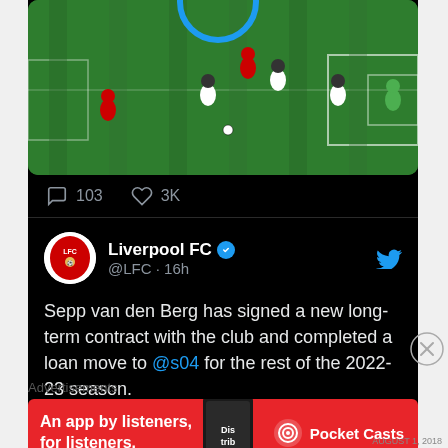[Figure (screenshot): Soccer/football match scene on green pitch with players in red, white and black kits, viewed from above]
103  3K
Liverpool FC @LFC · 16h
Sepp van den Berg has signed a new long-term contract with the club and completed a loan move to @s04 for the rest of the 2022-23 season.
Advertisements
[Figure (infographic): Pocket Casts advertisement banner: An app by listeners, for listeners.]